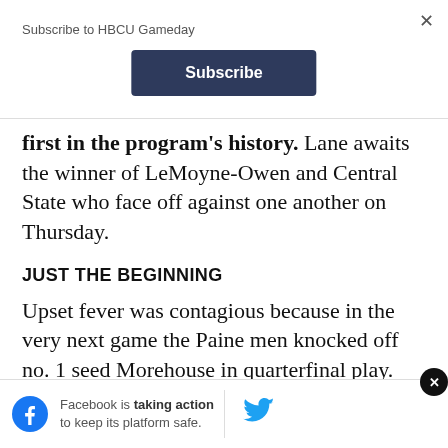Subscribe to HBCU Gameday
first in the program's history. Lane awaits the winner of LeMoyne-Owen and Central State who face off against one another on Thursday.
JUST THE BEGINNING
Upset fever was contagious because in the very next game the Paine men knocked off no. 1 seed Morehouse in quarterfinal play.
Facebook is taking action to keep its platform safe.